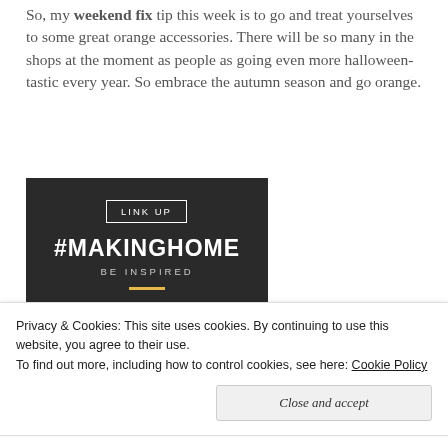So, my weekend fix tip this week is to go and treat yourselves to some great orange accessories. There will be so many in the shops at the moment as people as going even more halloween-tastic every year. So embrace the autumn season and go orange.
[Figure (other): Dark-themed promotional image with text: LINK UP, #MAKINGHOME, BE INSPIRED, with a yellow horizontal line underneath]
Privacy & Cookies: This site uses cookies. By continuing to use this website, you agree to their use.
To find out more, including how to control cookies, see here: Cookie Policy
Close and accept